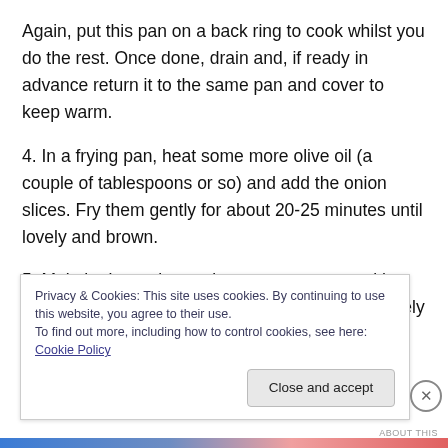Again, put this pan on a back ring to cook whilst you do the rest. Once done, drain and, if ready in advance return it to the same pan and cover to keep warm.
4. In a frying pan, heat some more olive oil (a couple of tablespoons or so) and add the onion slices. Fry them gently for about 20-25 minutes until lovely and brown.
5. Melt the butter in another saucepan, one with a lid, and add the vermicelli. Stir to cover it completely with butter and then cook/fry it until golden brown. This will take about
Privacy & Cookies: This site uses cookies. By continuing to use this website, you agree to their use.
To find out more, including how to control cookies, see here: Cookie Policy
Close and accept